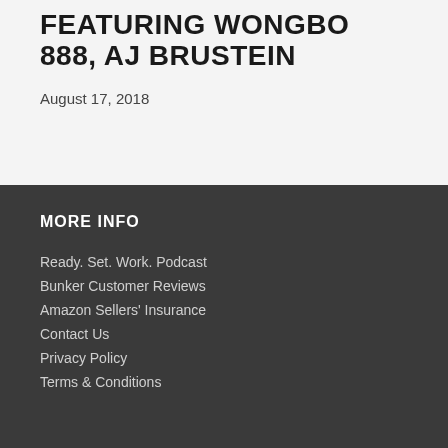FEATURING WONGBO 888, AJ BRUSTEIN
August 17, 2018
MORE INFO
Ready. Set. Work. Podcast
Bunker Customer Reviews
Amazon Sellers' Insurance
Contact Us
Privacy Policy
Terms & Conditions